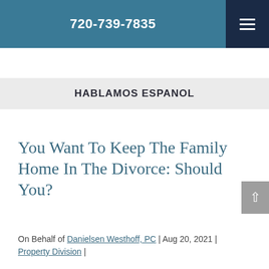720-739-7835
HABLAMOS ESPANOL
You Want To Keep The Family Home In The Divorce: Should You?
On Behalf of Danielsen Westhoff, PC | Aug 20, 2021 | Property Division |